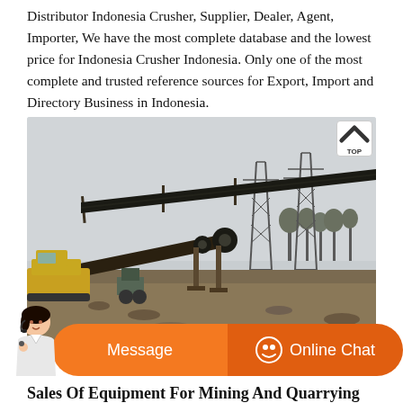Distributor Indonesia Crusher, Supplier, Dealer, Agent, Importer, We have the most complete database and the lowest price for Indonesia Crusher Indonesia. Only one of the most complete and trusted reference sources for Export, Import and Directory Business in Indonesia.
[Figure (photo): Outdoor industrial quarrying/mining site with conveyor belts, metal support structures, electrical transmission towers, and yellow construction machinery in a hazy outdoor setting.]
Sales Of Equipment For Mining And Quarrying